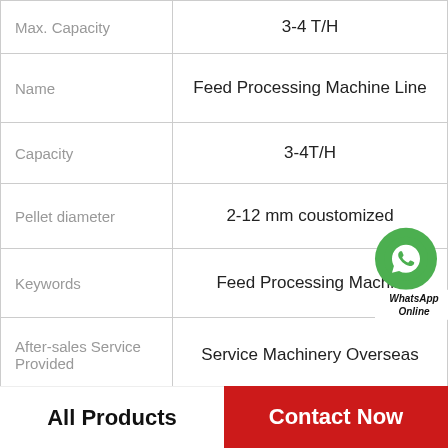| Property | Value |
| --- | --- |
| Max. Capacity | 3-4 T/H |
| Name | Feed Processing Machine Line |
| Capacity | 3-4T/H |
| Pellet diameter | 2-12 mm coustomized |
| Keywords | Feed Processing Machine |
| After-sales Service Provided | Service Machinery Overseas |
| Raw material | Corn Soybean Wheat etc. |
| Final product | Feed pellet or powder |
|  |  |
All Products   Contact Now